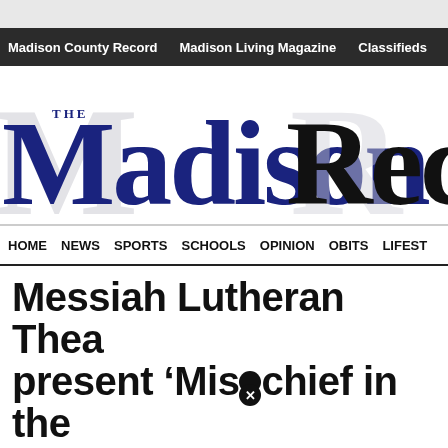Madison County Record | Madison Living Magazine | Classifieds | Public N
[Figure (logo): The Madison Record newspaper masthead logo with large serif typography in navy blue and black]
HOME  NEWS  SPORTS  SCHOOLS  OPINION  OBITS  LIFEST
Messiah Lutheran Thea present ‘Mischief in the Magnolias’
MADISON – For its 2019 show, Messiah Lutheran Theatre wi residents of Clover Leaf Plantation in “Mischief in the Magnoli